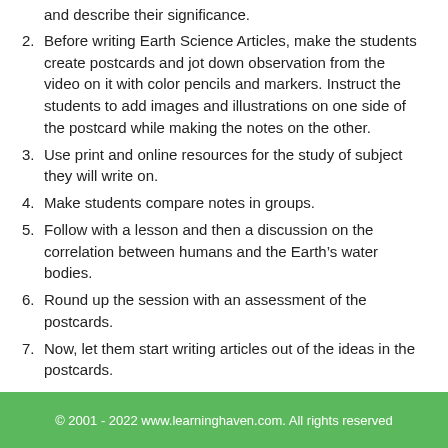and describe their significance.
2. Before writing Earth Science Articles, make the students create postcards and jot down observation from the video on it with color pencils and markers. Instruct the students to add images and illustrations on one side of the postcard while making the notes on the other.
3. Use print and online resources for the study of subject they will write on.
4. Make students compare notes in groups.
5. Follow with a lesson and then a discussion on the correlation between humans and the Earth’s water bodies.
6. Round up the session with an assessment of the postcards.
7. Now, let them start writing articles out of the ideas in the postcards.
© 2001 - 2022 www.learninghaven.com. All rights reserved